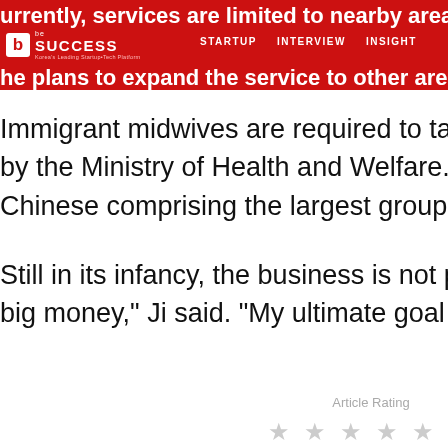Currently, services are limited to nearby areas, but o
be SUCCESS — STARTUP  INTERVIEW  INSIGHT
he plans to expand the service to other areas includ
Immigrant midwives are required to take 40 hours o
by the Ministry of Health and Welfare. Over 20 forei
Chinese comprising the largest group, followed by J
Still in its infancy, the business is not profitable yet.
big money," Ji said. "My ultimate goal is to have immi
822STARTUPS
0
Article Rating